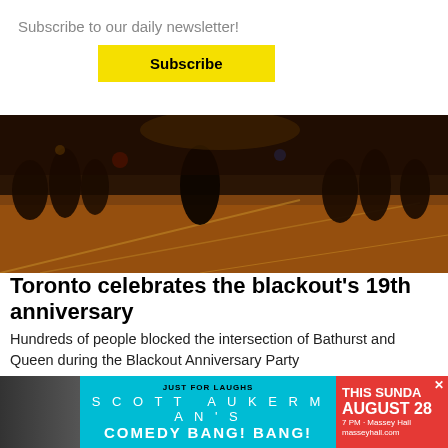Subscribe to our daily newsletter!
Subscribe
[Figure (photo): Crowd of people at an outdoor night event, intersection with streetcar tracks, people dancing and watching from the sides]
Toronto celebrates the blackout’s 19th anniversary
Hundreds of people blocked the intersection of Bathurst and Queen during the Blackout Anniversary Party
[Figure (photo): Advertisement banner: Just for Laughs presents Scott Aukerman’s Comedy Bang! Bang! This Sunday August 28 7PM Massey Hall masseyhall.com]